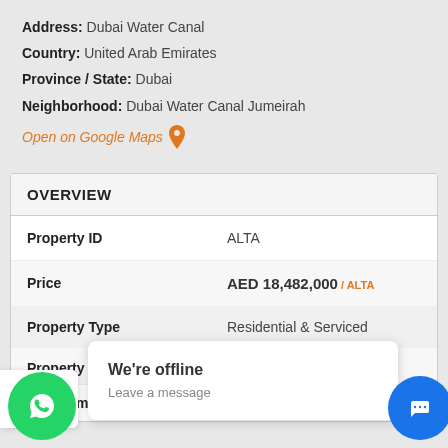Address: Dubai Water Canal
Country: United Arab Emirates
Province / State: Dubai
Neighborhood: Dubai Water Canal Jumeirah
Open on Google Maps 📍
OVERVIEW
| Property | Value |
| --- | --- |
| Property ID | ALTA |
| Price | AED 18,482,000 / ALTA |
| Property Type | Residential & Serviced |
| Property status |  |
| Bedrooms |  |
We're offline
Leave a message